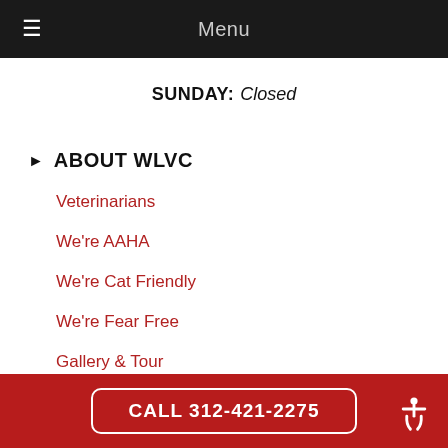Menu
SUNDAY: Closed
ABOUT WLVC
Veterinarians
We're AAHA
We're Cat Friendly
We're Fear Free
Gallery & Tour
Code of Conduct
Green Practices
CALL 312-421-2275